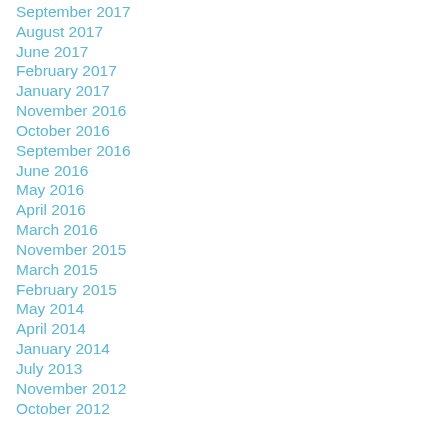September 2017
August 2017
June 2017
February 2017
January 2017
November 2016
October 2016
September 2016
June 2016
May 2016
April 2016
March 2016
November 2015
March 2015
February 2015
May 2014
April 2014
January 2014
July 2013
November 2012
October 2012